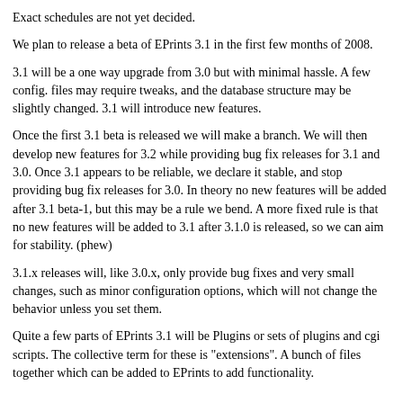Exact schedules are not yet decided.
We plan to release a beta of EPrints 3.1 in the first few months of 2008.
3.1 will be a one way upgrade from 3.0 but with minimal hassle. A few config. files may require tweaks, and the database structure may be slightly changed. 3.1 will introduce new features.
Once the first 3.1 beta is released we will make a branch. We will then develop new features for 3.2 while providing bug fix releases for 3.1 and 3.0. Once 3.1 appears to be reliable, we declare it stable, and stop providing bug fix releases for 3.0. In theory no new features will be added after 3.1 beta-1, but this may be a rule we bend. A more fixed rule is that no new features will be added to 3.1 after 3.1.0 is released, so we can aim for stability. (phew)
3.1.x releases will, like 3.0.x, only provide bug fixes and very small changes, such as minor configuration options, which will not change the behavior unless you set them.
Quite a few parts of EPrints 3.1 will be Plugins or sets of plugins and cgi scripts. The collective term for these is "extensions". A bunch of files together which can be added to EPrints to add functionality.